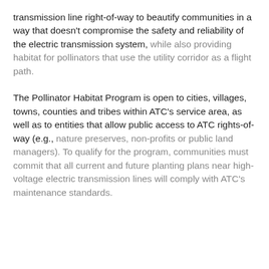transmission line right-of-way to beautify communities in a way that doesn't compromise the safety and reliability of the electric transmission system, while also providing habitat for pollinators that use the utility corridor as a flight path.
The Pollinator Habitat Program is open to cities, villages, towns, counties and tribes within ATC's service area, as well as to entities that allow public access to ATC rights-of-way (e.g., nature preserves, non-profits or public land managers). To qualify for the program, communities must commit that all current and future planting plans near high-voltage electric transmission lines will comply with ATC's maintenance standards.